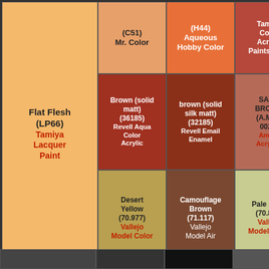| Flat Flesh (LP66)
Tamiya Lacquer Paint | (C51)
Mr. Color | (H44)
Aqueous Hobby Color | Tamiya Color Acrylic Paints (Flat) | (70.8... Vallejo Model... |
|  | Brown (solid matt) (36185)
Revell Aqua Color Acrylic | brown (solid silk matt) (32185)
Revell Email Enamel | SAND BROWN (A.MIG-0026)
Ammo Acrylics | Fles... (N4... Acrys... |
|  | Desert Yellow (70.977)
Vallejo Model Color | Camouflage Brown (71.117)
Vallejo Model Air | Pale Sand (70.837)
Vallejo Model Color | LIGHT TON... (A.M... 011... Amm... Acry... |
|  | Flat Skin Tone Tint Base - Light (4601AP)
Italeri | Flat Skin Tone Warm Tint (4603AP)
Italeri | Flat Flesh 2 (TS77)
Tamiya Color Spray Paints | DAP... FLES... (AK11... AK 3r... Acry... |